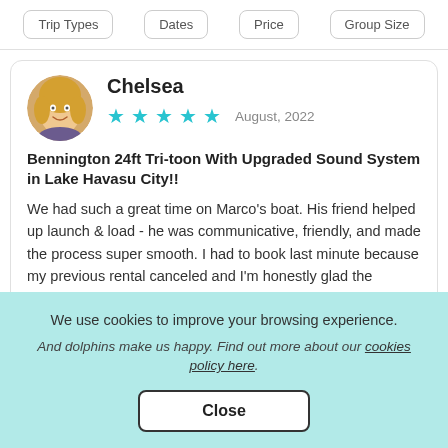Trip Types | Dates | Price | Group Size
Chelsea
★★★★★  August, 2022
Bennington 24ft Tri-toon With Upgraded Sound System in Lake Havasu City!!
We had such a great time on Marco's boat. His friend helped up launch & load - he was communicative, friendly, and made the process super smooth. I had to book last minute because my previous rental canceled and I'm honestly glad the original plan fell through bc
We use cookies to improve your browsing experience.
And dolphins make us happy. Find out more about our cookies policy here.
Close